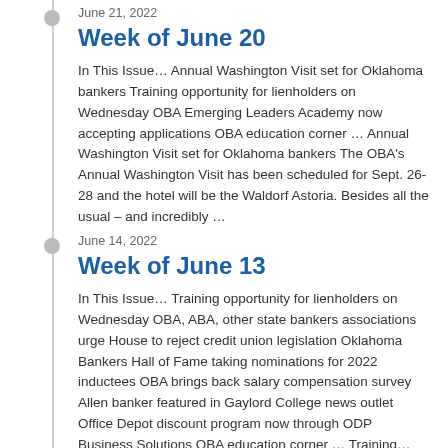June 21, 2022
Week of June 20
In This Issue… Annual Washington Visit set for Oklahoma bankers Training opportunity for lienholders on Wednesday OBA Emerging Leaders Academy now accepting applications OBA education corner … Annual Washington Visit set for Oklahoma bankers The OBA's Annual Washington Visit has been scheduled for Sept. 26-28 and the hotel will be the Waldorf Astoria. Besides all the usual – and incredibly …
June 14, 2022
Week of June 13
In This Issue… Training opportunity for lienholders on Wednesday OBA, ABA, other state bankers associations urge House to reject credit union legislation Oklahoma Bankers Hall of Fame taking nominations for 2022 inductees OBA brings back salary compensation survey Allen banker featured in Gaylord College news outlet Office Depot discount program now through ODP Business Solutions OBA education corner … Training…